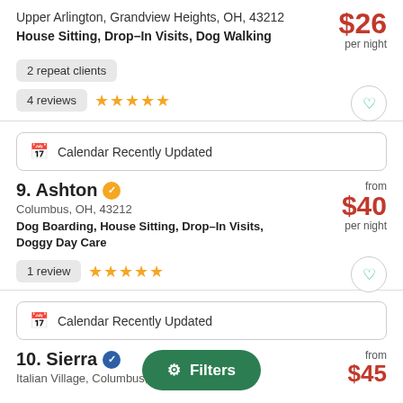Upper Arlington, Grandview Heights, OH, 43212
House Sitting, Drop–In Visits, Dog Walking
$26 per night
2 repeat clients
4 reviews ★★★★★
Calendar Recently Updated
9. Ashton
Columbus, OH, 43212
Dog Boarding, House Sitting, Drop–In Visits, Doggy Day Care
from $40 per night
1 review ★★★★★
Calendar Recently Updated
10. Sierra
Italian Village, Columbus, OH, 43201
from $45
Filters